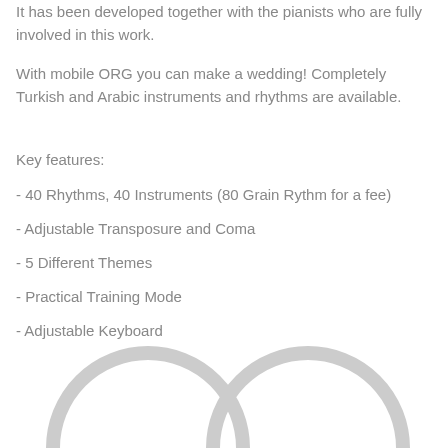It has been developed together with the pianists who are fully involved in this work.
With mobile ORG you can make a wedding! Completely Turkish and Arabic instruments and rhythms are available.
Key features:
- 40 Rhythms, 40 Instruments (80 Grain Rythm for a fee)
- Adjustable Transposure and Coma
- 5 Different Themes
- Practical Training Mode
- Adjustable Keyboard
[Figure (illustration): Two overlapping or side-by-side circular ring shapes (loading spinner circles) in light gray, partially cropped at the bottom of the page]